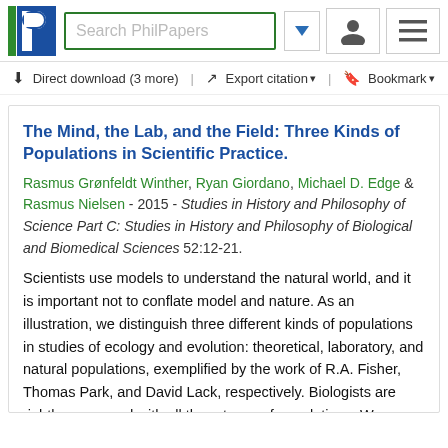[Figure (screenshot): PhilPapers navigation bar with logo, search box, dropdown arrow, user icon, and menu icon]
Direct download (3 more)  Export citation  Bookmark
The Mind, the Lab, and the Field: Three Kinds of Populations in Scientific Practice.
Rasmus Grønfeldt Winther, Ryan Giordano, Michael D. Edge & Rasmus Nielsen - 2015 - Studies in History and Philosophy of Science Part C: Studies in History and Philosophy of Biological and Biomedical Sciences 52:12-21.
Scientists use models to understand the natural world, and it is important not to conflate model and nature. As an illustration, we distinguish three different kinds of populations in studies of ecology and evolution: theoretical, laboratory, and natural populations, exemplified by the work of R.A. Fisher, Thomas Park, and David Lack, respectively. Biologists are rightly concerned with all three types of populations. We examine the interplay between three different kinds of populations and their interactions...